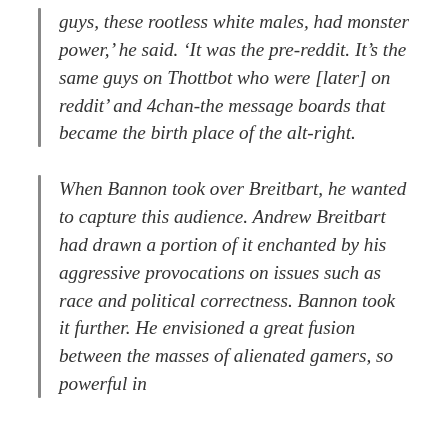guys, these rootless white males, had monster power,' he said. 'It was the pre-reddit. It's the same guys on Thottbot who were [later] on reddit' and 4chan-the message boards that became the birth place of the alt-right.
When Bannon took over Breitbart, he wanted to capture this audience. Andrew Breitbart had drawn a portion of it enchanted by his aggressive provocations on issues such as race and political correctness. Bannon took it further. He envisioned a great fusion between the masses of alienated gamers, so powerful in